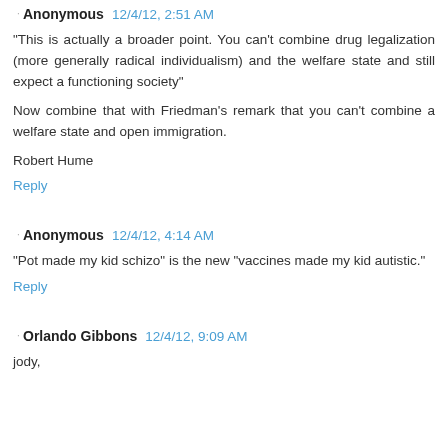Anonymous 12/4/12, 2:51 AM
"This is actually a broader point. You can't combine drug legalization (more generally radical individualism) and the welfare state and still expect a functioning society"
Now combine that with Friedman's remark that you can't combine a welfare state and open immigration.
Robert Hume
Reply
Anonymous 12/4/12, 4:14 AM
"Pot made my kid schizo" is the new "vaccines made my kid autistic."
Reply
Orlando Gibbons 12/4/12, 9:09 AM
jody,